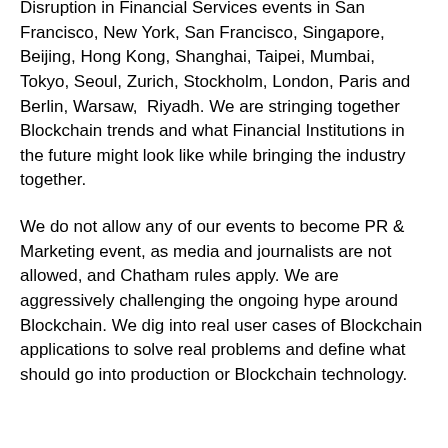Disruption in Financial Services events in San Francisco, New York, San Francisco, Singapore, Beijing, Hong Kong, Shanghai, Taipei, Mumbai, Tokyo, Seoul, Zurich, Stockholm, London, Paris and Berlin, Warsaw,  Riyadh. We are stringing together Blockchain trends and what Financial Institutions in the future might look like while bringing the industry together.
We do not allow any of our events to become PR & Marketing event, as media and journalists are not allowed, and Chatham rules apply. We are aggressively challenging the ongoing hype around Blockchain. We dig into real user cases of Blockchain applications to solve real problems and define what should go into production or Blockchain technology.